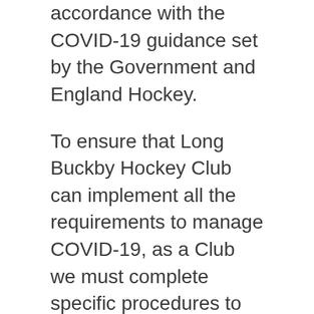accordance with the COVID-19 guidance set by the Government and England Hockey.
To ensure that Long Buckby Hockey Club can implement all the requirements to manage COVID-19, as a Club we must complete specific procedures to enable us all to return to playing hockey. How these measures will affect members:
The Club has a designated Covid Officer and this is Sam Grisewood.
Any player who displays symptoms or tests positive for Coronavirus must inform the Covid Officer as soon as